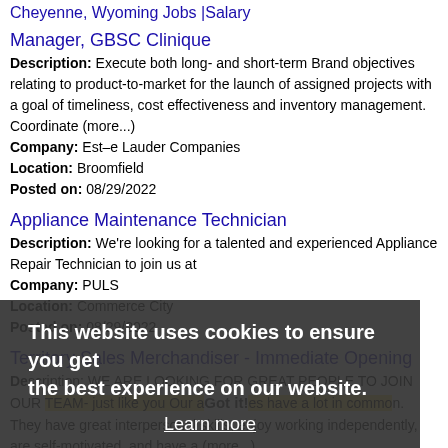Cheyenne, Wyoming Jobs |Salary
Manager, GBSC Clinique
Description: Execute both long- and short-term Brand objectives relating to product-to-market for the launch of assigned projects with a goal of timeliness, cost effectiveness and inventory management. Coordinate (more...) Company: Est--e Lauder Companies Location: Broomfield Posted on: 08/29/2022
Appliance Maintenance Technician
Description: We're looking for a talented and experienced Appliance Repair Technician to join us at Company: PULS Location: Commerce City Posted on: 08/29/2022
Territory Sales Merchandiser - Immediate Opening
Description: WE ARE LOOKING FOR GREAT PEOPLE TO JOIN OUR TEAM- just like you Our associates have a lot in common. They have great interpersonal skills, enjoy working independently, are self-motivated, and have a (more...) Company: Anderson Merchandisers, L.L.C.
This website uses cookies to ensure you get the best experience on our website. Learn more Got it!